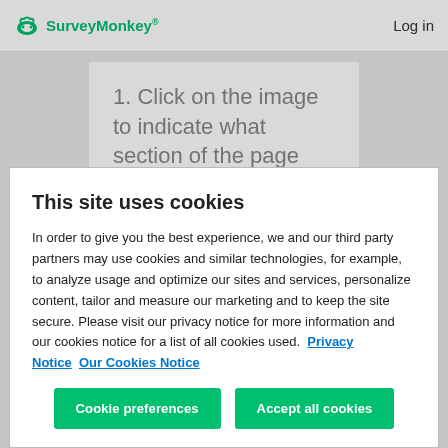SurveyMonkey   Log in
[Figure (screenshot): Partially visible SurveyMonkey survey page showing text: '1. Click on the image to indicate what section of the page you like the...']
This site uses cookies
In order to give you the best experience, we and our third party partners may use cookies and similar technologies, for example, to analyze usage and optimize our sites and services, personalize content, tailor and measure our marketing and to keep the site secure. Please visit our privacy notice for more information and our cookies notice for a list of all cookies used.  Privacy Notice  Our Cookies Notice
Cookie preferences   Accept all cookies